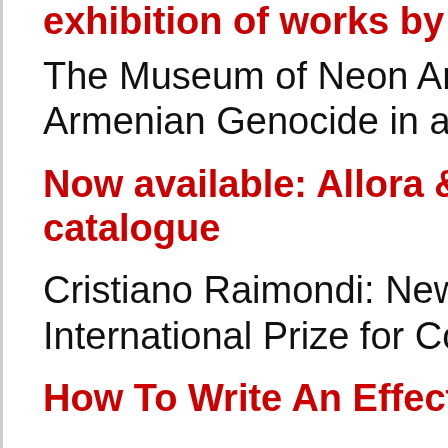exhibition of works by Tho...
The Museum of Neon Art h... Armenian Genocide in a n...
Now available: Allora & Ca... catalogue
Cristiano Raimondi: New A... International Prize for Con...
How To Write An Effective ...